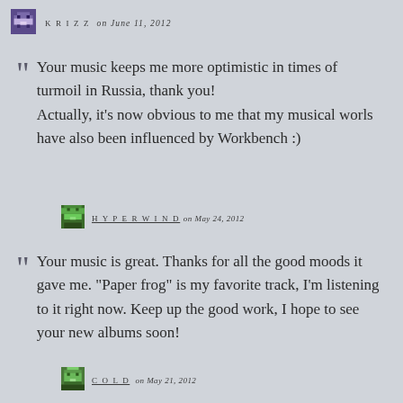KRIZZ  on June 11, 2012
Your music keeps me more optimistic in times of turmoil in Russia, thank you! Actually, it’s now obvious to me that my musical worls have also been influenced by Workbench :)
HYPERWIND  on May 24, 2012
Your music is great. Thanks for all the good moods it gave me. “Paper frog” is my favorite track, I’m listening to it right now. Keep up the good work, I hope to see your new albums soon!
COLD  on May 21, 2012